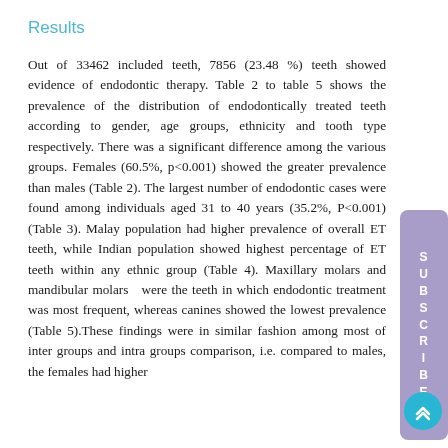Results
Out of 33462 included teeth, 7856 (23.48 %) teeth showed evidence of endodontic therapy. Table 2 to table 5 shows the prevalence of the distribution of endodontically treated teeth according to gender, age groups, ethnicity and tooth type respectively. There was a significant difference among the various groups. Females (60.5%, p<0.001) showed the greater prevalence than males (Table 2). The largest number of endodontic cases were found among individuals aged 31 to 40 years (35.2%, P<0.001) (Table 3). Malay population had higher prevalence of overall ET teeth, while Indian population showed highest percentage of ET teeth within any ethnic group (Table 4). Maxillary molars and mandibular molars were the teeth in which endodontic treatment was most frequent, whereas canines showed the lowest prevalence (Table 5).These findings were in similar fashion among most of inter groups and intra groups comparison, i.e. compared to males, the females had higher